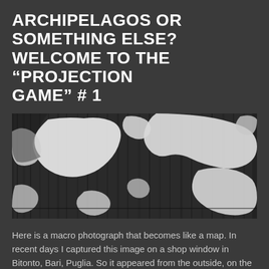ARCHIPELAGOS OR SOMETHING ELSE? WELCOME TO THE “PROJECTION GAME” # 1
[Figure (photo): Macro photograph of a shop window in Bitonto, Bari, Puglia showing a black and white peeling or frosted glass pattern that resembles an archipelago or world map with white landmass-like shapes on a dark background.]
Here is a macro photograph that becomes like a map. In recent days I captured this image on a shop window in Bitonto, Bari, Puglia. So it appeared from the outside, on the public road. I immediately read there archipelagos and imaginary continents to orient myself in parallel worlds (but not too much). Or can…
Read More